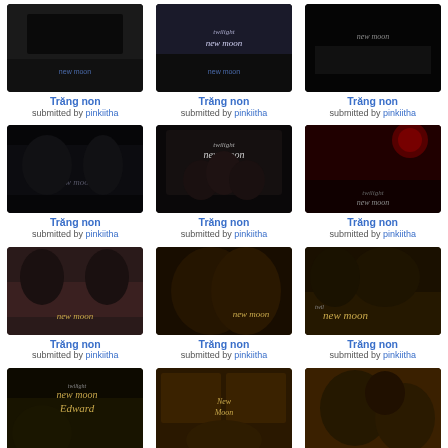[Figure (photo): Twilight New Moon movie image thumbnail, dark scene]
Trăng non
submitted by pinkiitha
[Figure (photo): Twilight New Moon movie image thumbnail, dark scene with text]
Trăng non
submitted by pinkiitha
[Figure (photo): Twilight New Moon movie poster thumbnail, black background with new moon text]
Trăng non
submitted by pinkiitha
[Figure (photo): Twilight New Moon dark forest image thumbnail]
Trăng non
submitted by pinkiitha
[Figure (photo): Twilight New Moon three characters poster thumbnail]
Trăng non
submitted by pinkiitha
[Figure (photo): Twilight New Moon red roses dark thumbnail]
Trăng non
submitted by pinkiitha
[Figure (photo): Twilight New Moon characters dancing thumbnail]
Trăng non
submitted by pinkiitha
[Figure (photo): Twilight New Moon close up kiss thumbnail]
Trăng non
submitted by pinkiitha
[Figure (photo): Twilight New Moon group of vampires thumbnail]
Trăng non
submitted by pinkiitha
[Figure (photo): Twilight New Moon Edward character thumbnail with golden text]
Trăng non
submitted by pinkiitha
[Figure (photo): Twilight New Moon Bella character poster thumbnail]
Trăng non
submitted by pinkiitha
[Figure (photo): Twilight Edward and Bella golden warm thumbnail]
Edward&Bella
submitted by pinkiitha